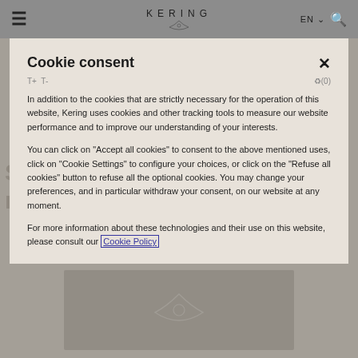KERING
Cookie consent
In addition to the cookies that are strictly necessary for the operation of this website, Kering uses cookies and other tracking tools to measure our website performance and to improve our understanding of your interests.
You can click on "Accept all cookies" to consent to the above mentioned uses, click on "Cookie Settings" to configure your choices, or click on the "Refuse all cookies" button to refuse all the optional cookies. You may change your preferences, and in particular withdraw your consent, on our website at any moment.
For more information about these technologies and their use on this website, please consult our Cookie Policy